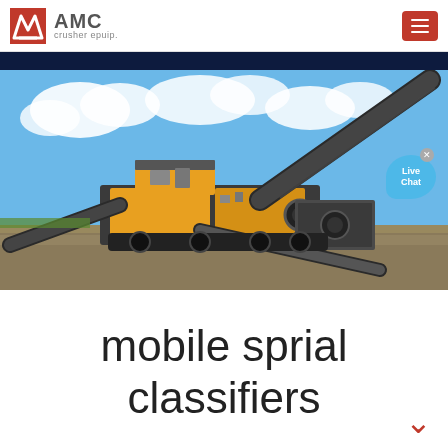AMC crusher epuip.
[Figure (photo): Mobile screening/crushing machine with conveyor belts extended diagonally, parked on a gravel/dirt site under a blue sky with clouds. Live Chat bubble overlay visible in upper right of image.]
mobile sprial classifiers